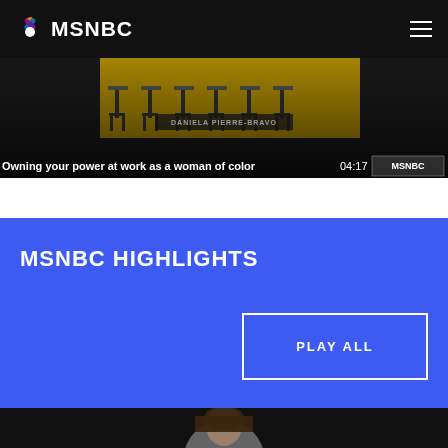MSNBC
[Figure (screenshot): Video thumbnail showing a TV set with yellow stools/chairs and text 'DANIELA PIERRE-BRAVO' overlaid. Lower bar shows title 'Owning your power at work as a woman of color' with duration '04:17' and MSNBC logo badge.]
Owning your power at work as a woman of color
04:17
MSNBC HIGHLIGHTS
PLAY ALL